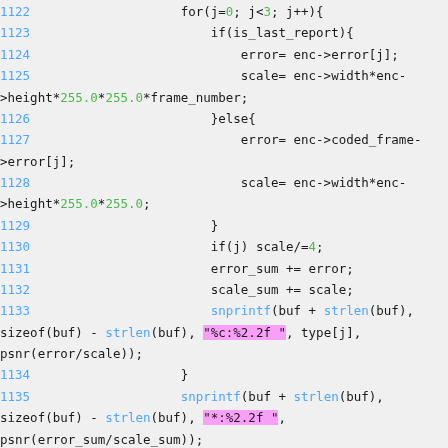[Figure (screenshot): Source code snippet showing C code lines 1122-1139 with syntax highlighting. Line numbers in blue, keywords in dark, numeric literals in green, string literals highlighted in pink/magenta, function names in blue, and a comment in grey italic.]